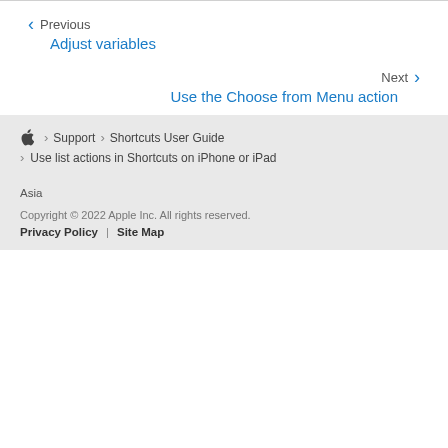Previous
Adjust variables
Next
Use the Choose from Menu action
Support > Shortcuts User Guide > Use list actions in Shortcuts on iPhone or iPad
Asia
Copyright © 2022 Apple Inc. All rights reserved.
Privacy Policy | Site Map